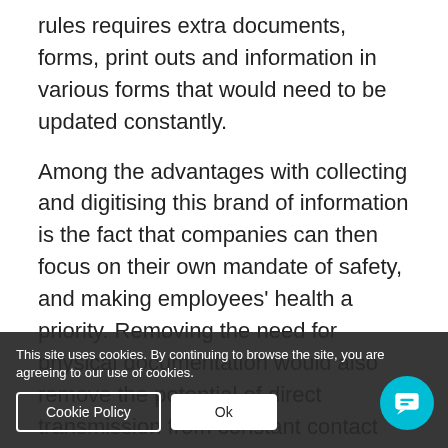rules requires extra documents, forms, print outs and information in various forms that would need to be updated constantly.
Among the advantages with collecting and digitising this brand of information is the fact that companies can then focus on their own mandate of safety, and making employees' health a priority. Removing the need for physical documentation would also remove the potential of direct transmission from constant contact with others.
Submit we... guarantee that any and all of these ...ts wo... be taken care of transparency and